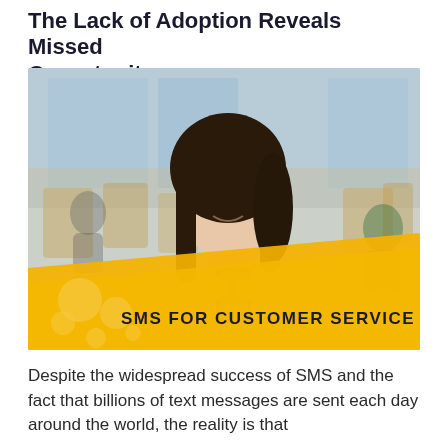The Lack of Adoption Reveals Missed Opportunity
[Figure (photo): Young Asian woman smiling and looking at her smartphone in a cafe setting, with wooden chairs in the background. A yellow/gold banner overlay at the bottom reads 'SMS FOR CUSTOMER SERVICE' with decorative circular elements.]
Despite the widespread success of SMS and the fact that billions of text messages are sent each day around the world, the reality is that